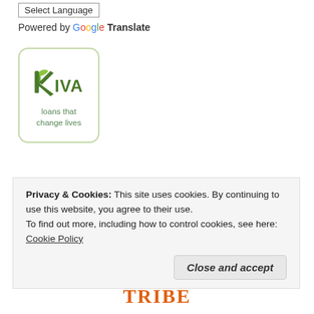Select Language
Powered by Google Translate
[Figure (logo): Kiva logo — green leaf logo with text 'KIVA' and tagline 'loans that change lives' in a rounded square border]
[Figure (illustration): Partial illustration showing diagonal pen/pencil strokes and partial decorative image, partially obscured by cookie banner]
Privacy & Cookies: This site uses cookies. By continuing to use this website, you agree to their use.
To find out more, including how to control cookies, see here: Cookie Policy
Close and accept
TRIBE